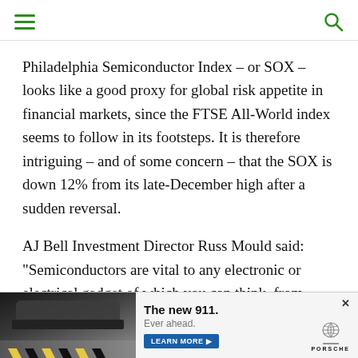[hamburger menu] [search icon]
Philadelphia Semiconductor Index – or SOX – looks like a good proxy for global risk appetite in financial markets, since the FTSE All-World index seems to follow in its footsteps. It is therefore intriguing – and of some concern – that the SOX is down 12% from its late-December high after a sudden reversal.
AJ Bell Investment Director Russ Mould said: "Semiconductors are vital to any electronic or electrical gadget of which you can think, from smartphones to smart meters, cars to telecom equipment and laptop computers to industrial robots…"
[Figure (photo): Porsche 911 advertisement banner showing a black sports car on a road with chevron markings. Text reads: 'The new 911. Ever ahead. LEARN MORE ▶' with Porsche logo.]